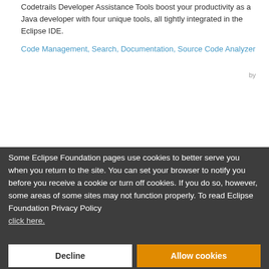Codetrails Developer Assistance Tools boost your productivity as a Java developer with four unique tools, all tightly integrated in the Eclipse IDE.
Code Management, Search, Documentation, Source Code Analyzer
Some Eclipse Foundation pages use cookies to better serve you when you return to the site. You can set your browser to notify you before you receive a cookie or turn off cookies. If you do so, however, some areas of some sites may not function properly. To read Eclipse Foundation Privacy Policy click here.
Decline
Allow cookies
Last Updated on Monday, July 12, 2021 - 05:05
by Avichay Libeskind Mulvan